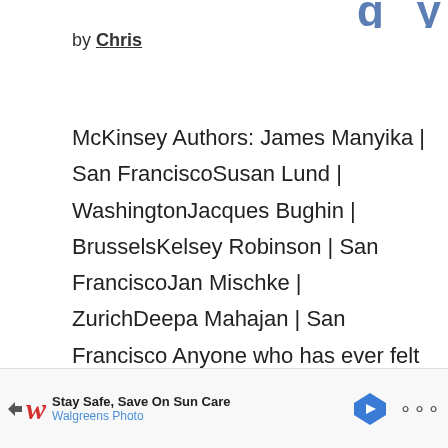...g...
by Chris
McKinsey Authors: James Manyika | San FranciscoSusan Lund | WashingtonJacques Bughin | BrusselsKelsey Robinson | San FranciscoJan Mischke | ZurichDeepa Mahajan | San Francisco Anyone who has ever felt trapped in a cubicle,
[Figure (other): Advertisement banner: Stay Safe, Save On Sun Care - Walgreens Photo, with logo and navigation icon]